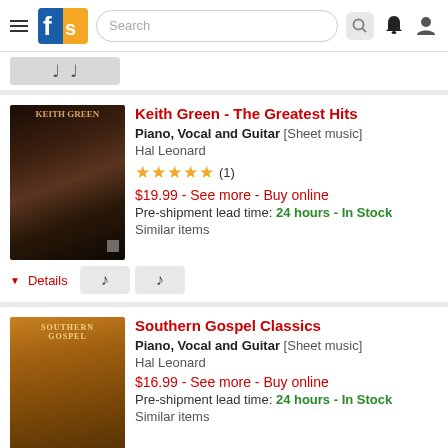Sheet music store app header with logo, search, bell, and user icons
[Figure (screenshot): Partial product card at top, cut off]
Keith Green - The Greatest Hits | Piano, Vocal and Guitar [Sheet music] | Hal Leonard | 4.5 stars (1) | $19.99 - See more - Buy online | Pre-shipment lead time: 24 hours - In Stock | Similar items
Southern Gospel Classics | Piano, Vocal and Guitar [Sheet music] | Hal Leonard | $16.99 - See more - Buy online | Pre-shipment lead time: 24 hours - In Stock | Similar items
The Best of John P. Kee | Piano, Vocal and Guitar | Hal Leonard